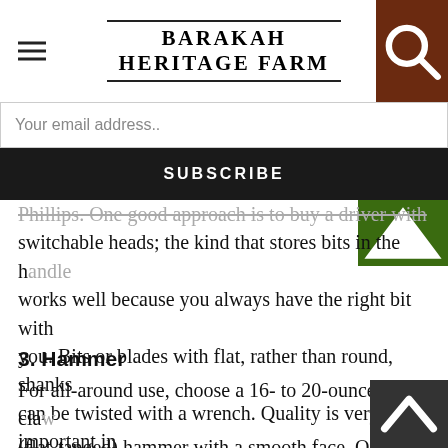BARAKAH HERITAGE FARM
Your email address..
SUBSCRIBE
Phillips. One good approach is to buy a driver with switchable heads; the kind that stores bits in the handle works well because you always have the right bit with you. Bits or blades with flat, rather than round, shanks can be twisted with a wrench. Quality is very important in this tool. Cheap screwdrivers quickly become useless. Uses: Though screwdrivers can be used to do work other than installing and removing screws, given the best don't last long under such duty.
3. Hammer
For all-around use, choose a 16- to 20-ounce, rip-claw (flat-tanged) hammer with a smooth face. Only a steel or